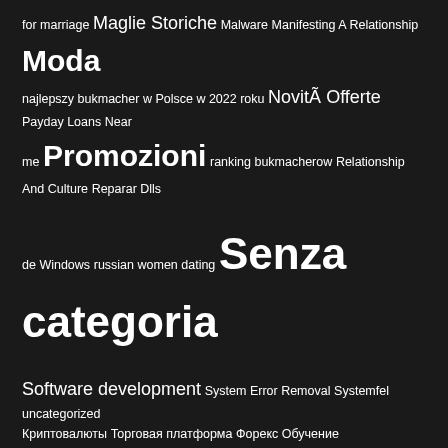for marriage Maglie Storiche Malware Manifesting A Relationship Moda najlepszy bukmacher w Polsce w 2022 roku NovitÃ  Offerte Payday Loans Near me Promozioni ranking bukmacherow Relationship And Culture Reparar Dlls de Windows russian women dating Senza categoria Software development System Error Removal Systemfel uncategorized Криптовалюты Торговая платформа Форекс Обучение
Recent Post
Methods to Delete Albums on i phone
How to Get the Best Medical Services in Germany
Dental Technologies and Innovations
Web Business Advice to obtain Started
Very best Free VPN For Apple pc